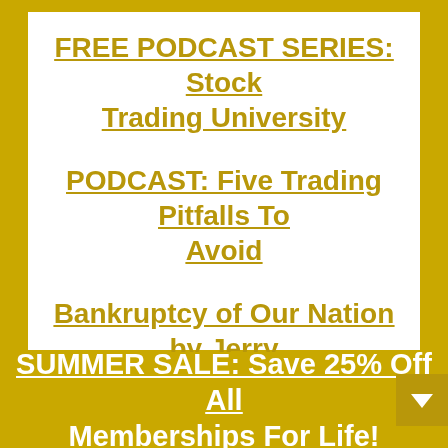FREE PODCAST SERIES: Stock Trading University
PODCAST: Five Trading Pitfalls To Avoid
Bankruptcy of Our Nation by Jerry Robinson
From our Follow the Money Archives:
SUMMER SALE: Save 25% Off All Memberships For Life!